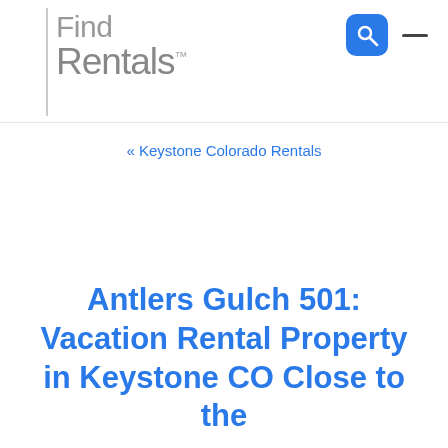Find Rentals™
« Keystone Colorado Rentals
Antlers Gulch 501: Vacation Rental Property in Keystone CO Close to the